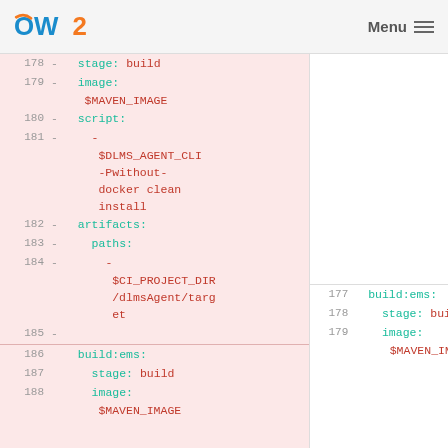OW2 | Menu
Code diff showing lines 178-188 and right panel 177-179 of a YAML CI/CD configuration file with build:ems stage definitions
[Figure (screenshot): Code diff view showing deleted lines (pink background, left) with line numbers 178-185 and added lines (white background, right) with line numbers 177-179. Content includes YAML CI pipeline configuration with stage: build, image: $MAVEN_IMAGE, script, $DLMS_AGENT_CLI, -Pwithout-docker clean install, artifacts, paths, $CI_PROJECT_DIR/dlmsAgent/target, and build:ems definitions.]